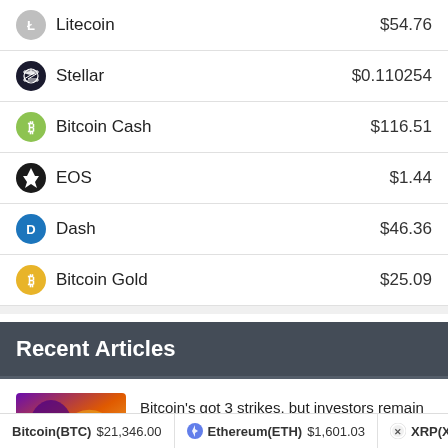| Cryptocurrency | Price |
| --- | --- |
| Litecoin | $54.76 |
| Stellar | $0.110254 |
| Bitcoin Cash | $116.51 |
| EOS | $1.44 |
| Dash | $46.36 |
| Bitcoin Gold | $25.09 |
Recent Articles
Bitcoin's got 3 strikes, but investors remain calm despite price drop
Bitcoin(BTC) $21,346.00   Ethereum(ETH) $1,601.03   XRP(X...